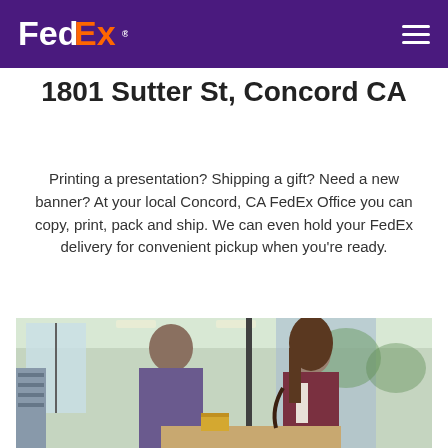FedEx
1801 Sutter St, Concord CA
Printing a presentation? Shipping a gift? Need a new banner? At your local Concord, CA FedEx Office you can copy, print, pack and ship. We can even hold your FedEx delivery for convenient pickup when you're ready.
[Figure (photo): Two people at a FedEx Office store counter, a male employee in a purple shirt helping a female customer with brown hair in a burgundy jacket, in a bright store interior with large windows.]